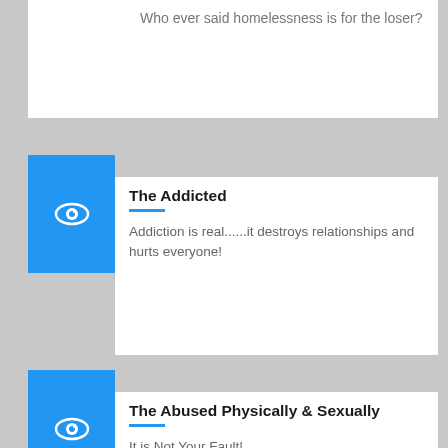Who ever said homelessness is for the loser?
[Figure (illustration): Blue square with white eye icon]
The Addicted
Addiction is real......it destroys relationships and hurts everyone!
[Figure (illustration): Blue square with white eye icon]
The Abused Physically & Sexually
It is Not Your Fault!